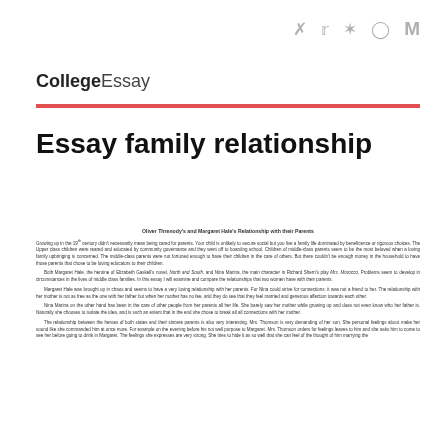Social icons: Twitter, Facebook, Snapchat, Instagram, Medium
CollegeEssay
Essay family relationship
Oliver Threnody's and Margaret Hale's Relationship with their Parents

Growing up in the 19th century didn't necessarily mean being cared for parents. Your child is unlikely to secure social but you live a family life dominated by beneficence or rigorous choices. The Upper class children were reared and educated by community governance and they went off to boarding school. Children of middle-class parents seem to be the most beloved when a loving family upbringing is concerned. The middle-class parents were not fortuned enough to have their children in the care of others. But there couldn't be enough money in the household to have those parents that chose to be loving educators to their children.

Both Margaret Hale, the heroine of Elizabeth Gaskell's novel, North and South, and Nina Marina, the main character in Richard Sherri's play Mrs. Morocco, Problems seem to develop in circumstances in the lives of middle class families. In this essay I will examine and compare the relationships that two women have with their parents.

Margaret Hale was brought up in chaos and seems to have a very loving relationship with her parents. For Nina could strive for connections: it was not a friend to her. The relationship with her mother is not as free as the one with her father but when her mother has no fee, arid they do see that they feel married and generous affection towards each other.

Nina Marina on the other hand has been in the care of other people from her parents all her life. She barely saw her mother while growing up and does not even know who her father is. Naturally she chooses to isolate the idea, and is such an extent that in the end she chose to break all all connections with her mother.

The relationship between the heroes of both states and their sincere parents is also very interesting. Mrs. Thomson is very demanding of her son. She personal feelings about make her sound like she commanded him at once more. For example on the evening before his not well purpose to Margaret. Mrs. Thomson orders for feelings leaves to him and she asks him to come to see her before going to drink in Margaret. The feelings she expresses are very strong. She tries to hide it as well that she can feel of the thought of him marrying the